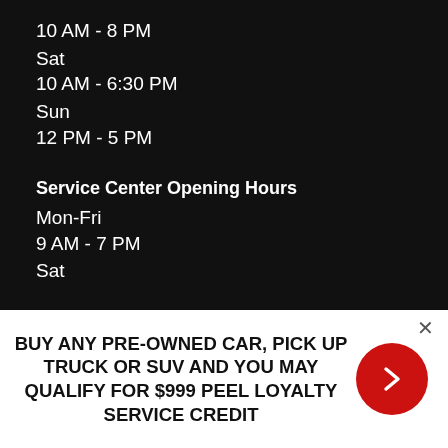10 AM - 8 PM
Sat
10 AM - 6:30 PM
Sun
12 PM - 5 PM
Service Center Opening Hours
Mon-Fri
9 AM - 7 PM
Sat
BUY ANY PRE-OWNED CAR, PICK UP TRUCK OR SUV AND YOU MAY QUALIFY FOR $999 PEEL LOYALTY SERVICE CREDIT